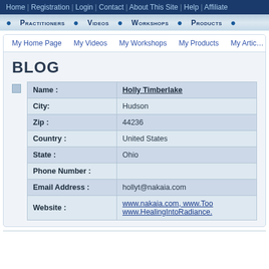Home | Registration | Login | Contact | About This Site | Help | Affiliate
Practitioners  Videos  Workshops  Products
My Home Page  My Videos  My Workshops  My Products  My Articles
BLOG
| Field | Value |
| --- | --- |
| Name : | Holly Timberlake |
| City: | Hudson |
| Zip : | 44236 |
| Country : | United States |
| State : | Ohio |
| Phone Number : |  |
| Email Address : | hollyt@nakaia.com |
| Website : | www.nakaia.com, www.Too... www.HealingIntoRadiance... |